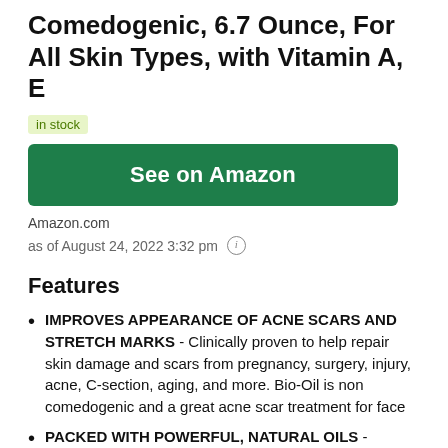Comedogenic, 6.7 Ounce, For All Skin Types, with Vitamin A, E
in stock
See on Amazon
Amazon.com
as of August 24, 2022 3:32 pm
Features
IMPROVES APPEARANCE OF ACNE SCARS AND STRETCH MARKS - Clinically proven to help repair skin damage and scars from pregnancy, surgery, injury, acne, C-section, aging, and more. Bio-Oil is non comedogenic and a great acne scar treatment for face
PACKED WITH POWERFUL, NATURAL OILS - Vitamin A Oil promotes the formation of new collagen and assists in skin renewal, increasing skin elasticity